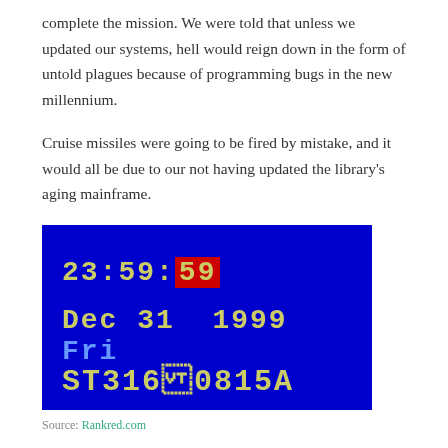complete the mission. We were told that unless we updated our systems, hell would reign down in the form of untold plagues because of programming bugs in the new millennium.
Cruise missiles were going to be fired by mistake, and it would all be due to our not having updated the library’s aging mainframe.
[Figure (screenshot): Blue screen display showing time 23:59:59 (with 59 highlighted in red), date Dec 31 1999 Fri, and serial number ST3160815A in yellow text on blue background]
Source: Rankred.com